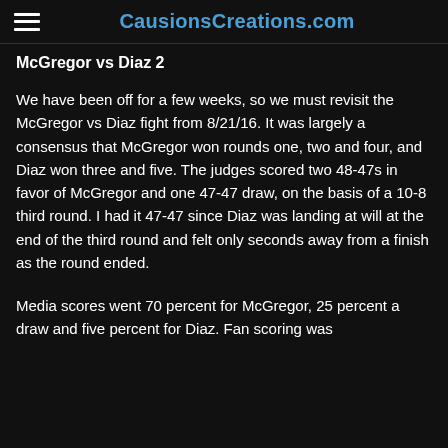CausionsCreations.com
McGregor vs Diaz 2
We have been off for a few weeks, so we must revisit the McGregor vs Diaz fight from 8/21/16. It was largely a consensus that McGregor won rounds one, two and four, and Diaz won three and five. The judges scored two 48-47s in favor of McGregor and one 47-47 draw, on the basis of a 10-8 third round. I had it 47-47 since Diaz was landing at will at the end of the third round and felt only seconds away from a finish as the round ended.
Media scores went 70 percent for McGregor, 25 percent a draw and five percent for Diaz. Fan scoring was